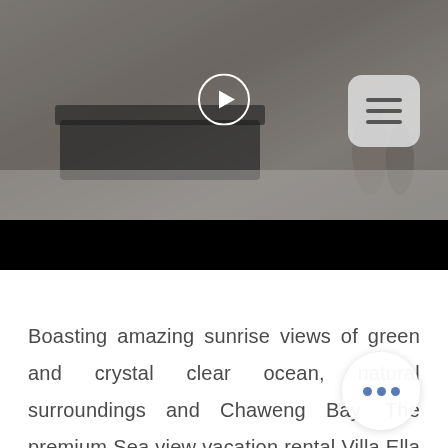[Figure (screenshot): Video player screenshot showing an interior/outdoor villa scene with play button overlay and a menu button (three horizontal lines) in the upper right. Below the video image area is a black bar.]
Boasting amazing sunrise views of green and crystal clear ocean, natural surroundings and Chaweng Bay. The premium Sea view vacation rental Villa Ella Samui set in the beautiful, silent, private, sought after and peaceful hills of Chaweng Noi Beach Koh Samui offers a entire holiday villa for rent including 4 individual air conditioned bedrooms and welcomes you for